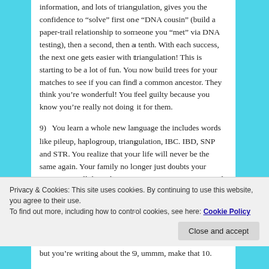information, and lots of triangulation, gives you the confidence to “solve” first one “DNA cousin” (build a paper-trail relationship to someone you “met” via DNA testing), then a second, then a tenth. With each success, the next one gets easier with triangulation! This is starting to be a lot of fun. You now build trees for your matches to see if you can find a common ancestor. They think you’re wonderful! You feel guilty because you know you’re really not doing it for them.
9) You learn a whole new language the includes words like pileup, haplogroup, triangulation, IBC. IBD, SNP and STR. You realize that your life will never be the same again. Your family no longer just doubts your sanity. You tell them there are no recovery programs and you don’t
Privacy & Cookies: This site uses cookies. By continuing to use this website, you agree to their use.
To find out more, including how to control cookies, see here: Cookie Policy
but you’re writing about the 9, ummm, make that 10.